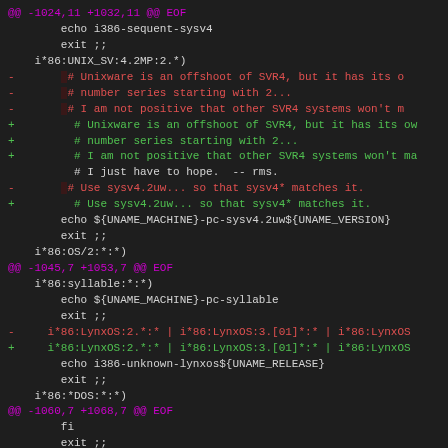[Figure (screenshot): Git diff output showing code changes in a shell script, with unified diff format. Lines in magenta are diff headers (@@), lines in red are removed lines (-), lines in green are added lines (+), and white/gray lines are context lines. The code deals with Unix system identification (uname-based detection) for i*86 architecture variants including UNIX_SV, OS/2, syllable, LynxOS, *DOS, and SVR4 systems.]